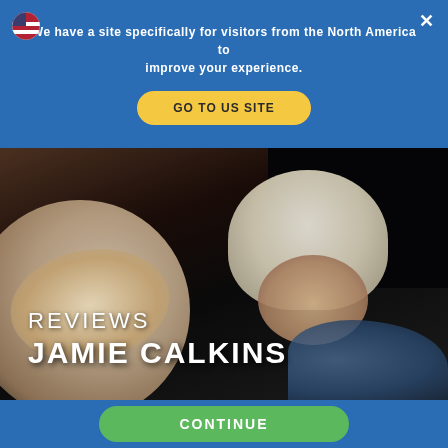We have a site specifically for visitors from the North America to improve your experience.
GO TO US SITE
[Figure (photo): Close-up photo of a newborn baby wearing a white knitted hat, eyes closed, sleeping. A person's arm/hand is visible holding the infant. Blue fabric visible in background.]
REVIEWS
JAMIE CALKINS
CONTINUE